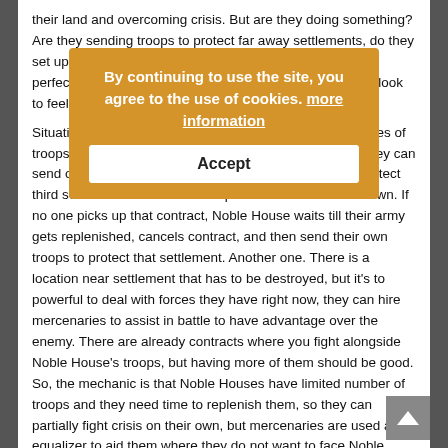their land and overcoming crisis. But are they doing something? Are they sending troops to protect far away settlements, do they set up camps and push enemy away? Noble House is not perfect, and that's why crises look realistic and how it can look to feel more alive.
Situation: Noble House has four settlements and two parties of troops, two of their settlements are being attacked, but, they can send only two units. That's why they create contract to protect third settlement from attack and protect first two on their own. If no one picks up that contract, Noble House waits till their army gets replenished, cancels contract, and then send their own troops to protect that settlement. Another one. There is a location near settlement that has to be destroyed, but it's to powerful to deal with forces they have right now, they can hire mercenaries to assist in battle to have advantage over the enemy. There are already contracts where you fight alongside Noble House's troops, but having more of them should be good. So, the mechanic is that Noble Houses have limited number of troops and they need time to replenish them, so they can partially fight crisis on their own, but mercenaries are used as equalizer to aid them where they do not want to face Noble House situation...
[Figure (other): Cookie consent popup overlay with orange/amber background. Text reads: 'By continuing to use the site, you agree to the use of cookies. more information' with an 'Accept' button below.]